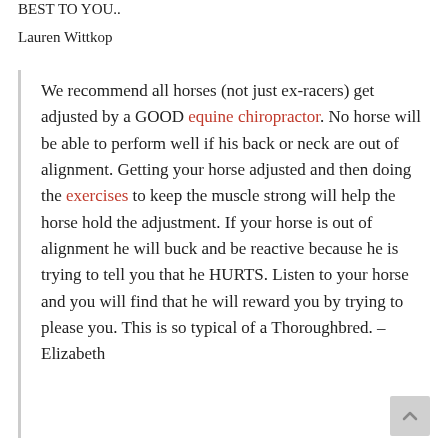BEST TO YOU..
Lauren Wittkop
We recommend all horses (not just ex-racers) get adjusted by a GOOD equine chiropractor. No horse will be able to perform well if his back or neck are out of alignment. Getting your horse adjusted and then doing the exercises to keep the muscle strong will help the horse hold the adjustment. If your horse is out of alignment he will buck and be reactive because he is trying to tell you that he HURTS. Listen to your horse and you will find that he will reward you by trying to please you. This is so typical of a Thoroughbred. – Elizabeth